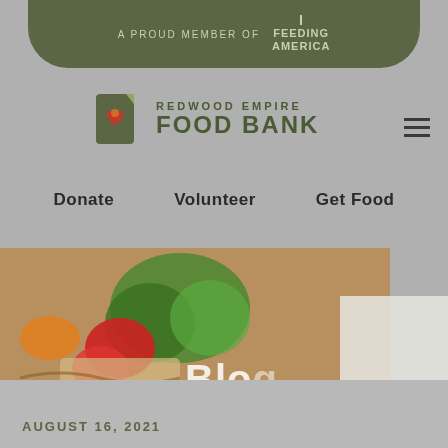[Figure (logo): Top banner with 'A PROUD MEMBER OF FEEDING AMERICA' text on olive green rounded rectangle]
[Figure (logo): Redwood Empire Food Bank logo with icon and text]
Donate
Volunteer
Get Food
[Figure (photo): Photo of food items in a basket/bowl including broccoli and other produce, with 'Blog' text overlay]
AUGUST 16, 2021